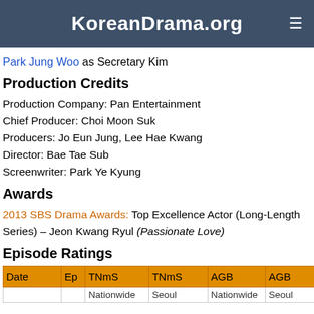KoreanDrama.org
Park Jung Woo as Secretary Kim
Production Credits
Production Company: Pan Entertainment
Chief Producer: Choi Moon Suk
Producers: Jo Eun Jung, Lee Hae Kwang
Director: Bae Tae Sub
Screenwriter: Park Ye Kyung
Awards
2013 SBS Drama Awards: Top Excellence Actor (Long-Length Series) – Jeon Kwang Ryul (Passionate Love)
Episode Ratings
| Date | Ep | TNmS | TNmS | AGB | AGB |
| --- | --- | --- | --- | --- | --- |
|  |  | Nationwide | Seoul | Nationwide | Seoul |